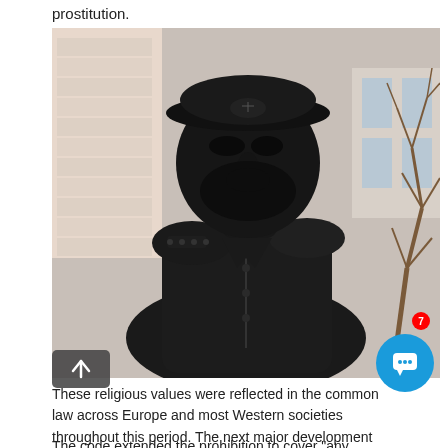prostitution.
[Figure (photo): Close-up photograph of a dark bronze or metal statue of a bearded male figure wearing a military-style cap and uniform, photographed outdoors with a building and bare tree branches visible in the background.]
These religious values were reflected in the common law across Europe and most Western societies throughout this period. The next major development came in the form of the Penal Code of Finland, [6] which prohibited both pandering and prostitution.
The code extended the prohibition to cover "any